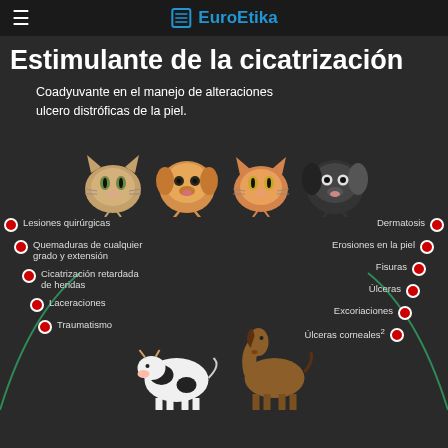EuroEtika
Estimulante de la cicatrización
Coadyuvante en el manejo de alteraciones ulcero distróficas de la piel.
[Figure (infographic): Infographic showing four animal faces (cat, dog, cat, black dog) at top, two large animals (cow, horse) at bottom center, with left and right curved green lines connecting red-dot bullet points listing skin condition indications. Left: Lesiones quirúrgicas, Quemaduras de cualquier grado y extensión, Cicatrización retardada de heridas, Laceraciones, Traumatismo. Right: Dermatosis, Erosiones en la piel, Fisuras, Úlceras, Excoriaciones, Úlceras corneales²]